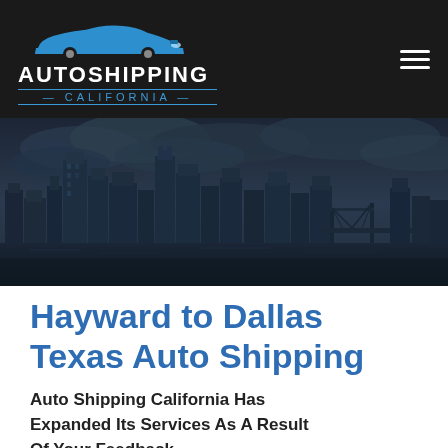AUTOSHIPPING CALIFORNIA
[Figure (photo): Dark moody cityscape/skyline photo with cloudy sky, showing tall buildings and a bridge over water, in blue-grey tones]
Hayward to Dallas Texas Auto Shipping
Auto Shipping California Has Expanded Its Services As A Result Of Your Feedback
Vehicle transport to and from